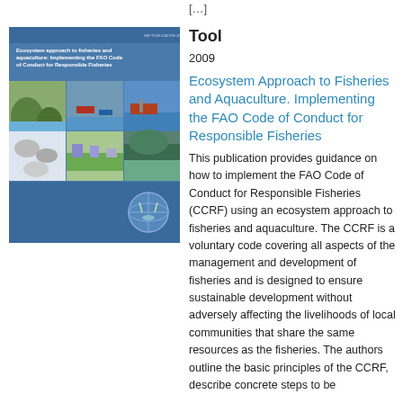[…]
[Figure (photo): Book cover: Ecosystem approach to fisheries and aquaculture: Implementing the FAO Code of Conduct for Responsible Fisheries. Blue cover with multiple photos of fisheries, boats, and aquaculture scenes, with FAO logo at bottom right.]
Tool
2009
Ecosystem Approach to Fisheries and Aquaculture. Implementing the FAO Code of Conduct for Responsible Fisheries
This publication provides guidance on how to implement the FAO Code of Conduct for Responsible Fisheries (CCRF) using an ecosystem approach to fisheries and aquaculture. The CCRF is a voluntary code covering all aspects of the management and development of fisheries and is designed to ensure sustainable development without adversely affecting the livelihoods of local communities that share the same resources as the fisheries. The authors outline the basic principles of the CCRF, describe concrete steps to be